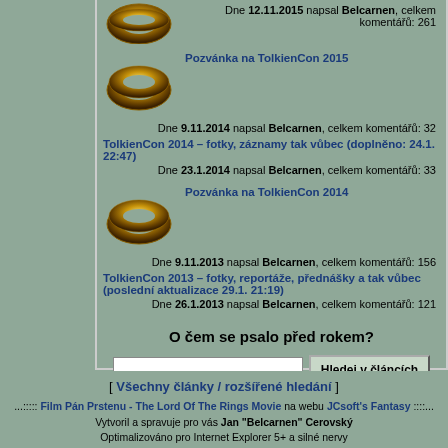Dne 12.11.2015 napsal Belcarnen, celkem komentářů: 261
Pozvánka na TolkienCon 2015
Dne 9.11.2014 napsal Belcarnen, celkem komentářů: 32
TolkienCon 2014 – fotky, záznamy tak vůbec (doplněno: 24.1. 22:47)
Dne 23.1.2014 napsal Belcarnen, celkem komentářů: 33
Pozvánka na TolkienCon 2014
Dne 9.11.2013 napsal Belcarnen, celkem komentářů: 156
TolkienCon 2013 – fotky, reportáže, přednášky a tak vůbec (poslední aktualizace 29.1. 21:19)
Dne 26.1.2013 napsal Belcarnen, celkem komentářů: 121
O čem se psalo před rokem?
Hledej v článcích
[ Všechny články / rozšířené hledání ]
...:::: Film Pán Prstenu - The Lord Of The Rings Movie na webu JCsoft's Fantasy ::::... Vytvoril a spravuje pro vás Jan "Belcarnen" Cerovský Optimalizováno pro Internet Explorer 5+ a silné nervy